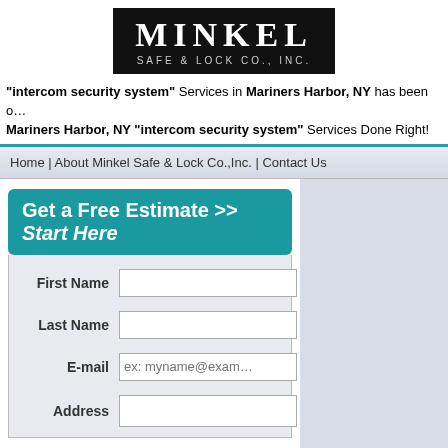[Figure (logo): Minkel Safe & Lock Co., Inc. logo — white text on black background]
"intercom security system" Services in Mariners Harbor, NY has been o… Mariners Harbor, NY "intercom security system" Services Done Right!
Home | About Minkel Safe & Lock Co.,Inc. | Contact Us
Get a Free Estimate >> Start Here
First Name
Last Name
E-mail  ex: myname@exam…
Address
About Minkel Safe & Lock Co.,Inc.
Minkel Safe & Lock Co.,Inc. is a full service security and locksmith center providing you with intercom security system services within the Mariners Harbor, NY area. We off a broader range of intercom security system services in the Mariners Harbor, NY area and are happy to…